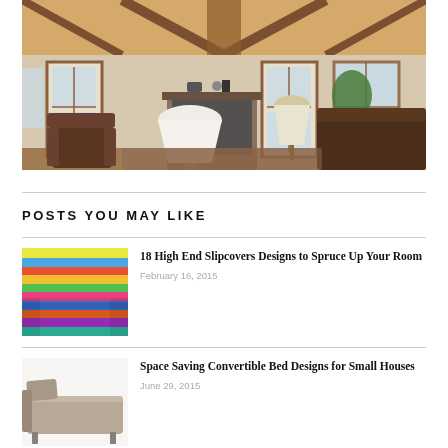[Figure (photo): Interior living room with vaulted wood ceiling, brick fireplace, French doors with large windows, brown leather sofas, and a large white floor lamp on hardwood floors]
POSTS YOU MAY LIKE
[Figure (photo): Colorful striped slipcover on a sofa/chair with multicolor horizontal stripes]
18 High End Slipcovers Designs to Spruce Up Your Room
February 16, 2015
[Figure (photo): Taupe/beige convertible sofa bed in flat position on white background]
Space Saving Convertible Bed Designs for Small Houses
June 29, 2015